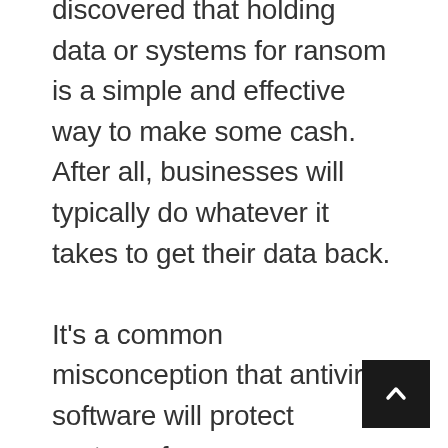discovered that holding data or systems for ransom is a simple and effective way to make some cash. After all, businesses will typically do whatever it takes to get their data back.

It's a common misconception that antivirus software will protect systems from ransomware. However, ransomware is unique and often missed by antivirus software. That's why it's important to deploy ransomware-specific